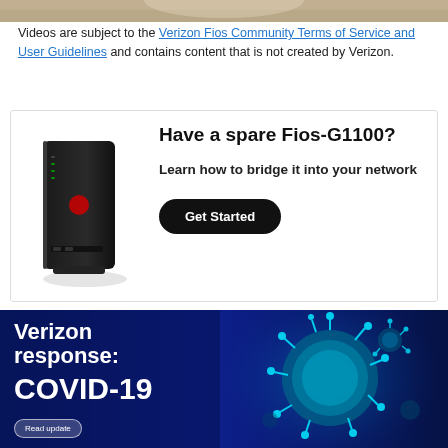[Figure (photo): Top portion of a video thumbnail showing a person, cropped at the top]
Videos are subject to the Verizon Fios Community Terms of Service and User Guidelines and contains content that is not created by Verizon.
[Figure (infographic): Advertisement box with image of a black Fios-G1100 router on the left. Text on right reads: Have a spare Fios-G1100? Learn how to bridge it into your network. Black Get Started button.]
[Figure (photo): Verizon COVID-19 response banner. Blue background with coronavirus particle image on the right. White bold text reads: Verizon response: COVID-19. Small Read update button at the bottom left.]